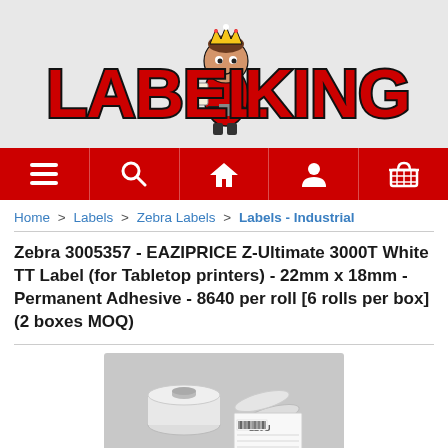[Figure (logo): Label King logo with cartoon king mascot holding a scroll, red bold text 'LABEL KING' with black outline on grey background]
[Figure (screenshot): Red navigation bar with white icons: hamburger menu, search magnifier, home/house, user/person, shopping basket]
Home > Labels > Zebra Labels > Labels - Industrial
Zebra 3005357 - EAZIPRICE Z-Ultimate 3000T White TT Label (for Tabletop printers) - 22mm x 18mm - Permanent Adhesive - 8640 per roll [6 rolls per box] (2 boxes MOQ)
[Figure (photo): Two rolls of white Zebra labels on a light grey background, one standing upright showing printed labels with '120U' text visible]